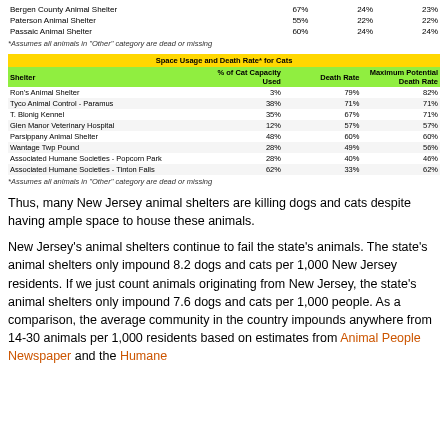| Shelter |  |  |  |
| --- | --- | --- | --- |
| Bergen County Animal Shelter | 67% | 24% | 23% |
| Paterson Animal Shelter | 55% | 22% | 22% |
| Passaic Animal Shelter | 60% | 24% | 24% |
*Assumes all animals in "Other" category are dead or missing
| Shelter | % of Cat Capacity Used | Death Rate | Maximum Potential Death Rate |
| --- | --- | --- | --- |
| Ron's Animal Shelter | 3% | 79% | 82% |
| Tyco Animal Control - Paramus | 38% | 71% | 71% |
| T. Blonig Kennel | 35% | 67% | 71% |
| Glen Manor Veterinary Hospital | 12% | 57% | 57% |
| Parsippany Animal Shelter | 48% | 60% | 60% |
| Wantage Twp Pound | 28% | 49% | 56% |
| Associated Humane Societies - Popcorn Park | 28% | 40% | 46% |
| Associated Humane Societies - Tinton Falls | 62% | 33% | 62% |
*Assumes all animals in "Other" category are dead or missing
Thus, many New Jersey animal shelters are killing dogs and cats despite having ample space to house these animals.
New Jersey’s animal shelters continue to fail the state’s animals. The state’s animal shelters only impound 8.2 dogs and cats per 1,000 New Jersey residents. If we just count animals originating from New Jersey, the state’s animal shelters only impound 7.6 dogs and cats per 1,000 people. As a comparison, the average community in the country impounds anywhere from 14-30 animals per 1,000 residents based on estimates from Animal People Newspaper and the Humane Society of the United States. For citation: As a comparison, the average...